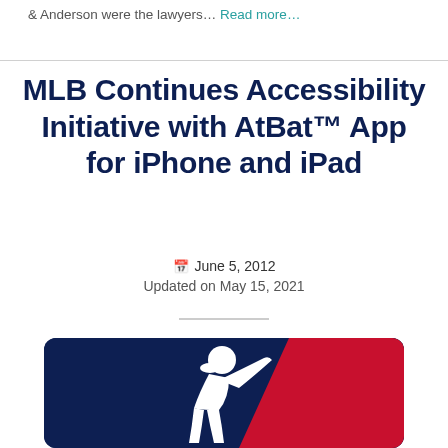& Anderson were the lawyers… Read more…
MLB Continues Accessibility Initiative with AtBat™ App for iPhone and iPad
June 5, 2012
Updated on May 15, 2021
[Figure (logo): MLB logo with dark navy blue background on left showing white batter silhouette and red diagonal stripe on right]